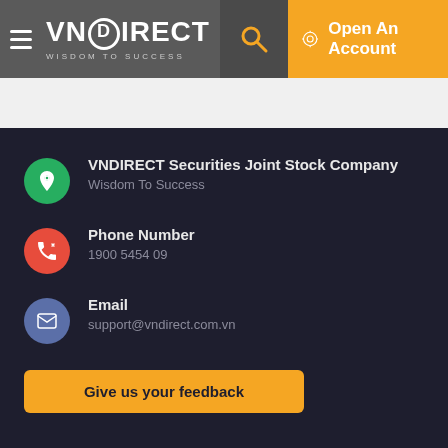[Figure (logo): VNDIRECT logo with 'WISDOM TO SUCCESS' tagline on dark grey header bar, with hamburger menu icon, search icon, and 'Open An Account' button on orange background]
VNDIRECT Securities Joint Stock Company
Wisdom To Success
Phone Number
1900 5454 09
Email
support@vndirect.com.vn
Give us your feedback